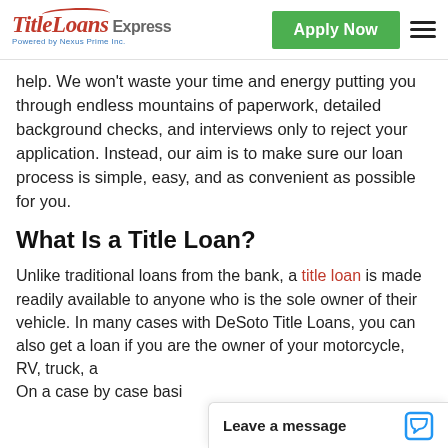TitleLoans Express | Powered by Nexus Prime Inc. | Apply Now
help. We won't waste your time and energy putting you through endless mountains of paperwork, detailed background checks, and interviews only to reject your application. Instead, our aim is to make sure our loan process is simple, easy, and as convenient as possible for you.
What Is a Title Loan?
Unlike traditional loans from the bank, a title loan is made readily available to anyone who is the sole owner of their vehicle. In many cases with DeSoto Title Loans, you can also get a loan if you are the owner of your motorcycle, RV, truck, a... On a case by case basi...